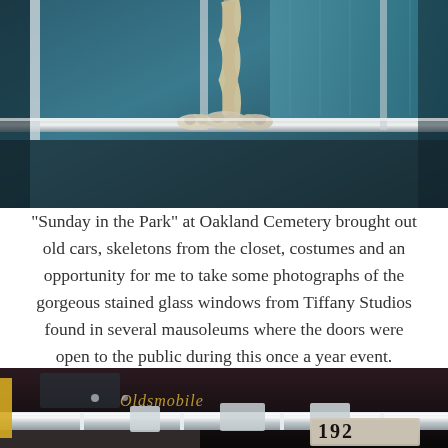[Figure (photo): Close-up photograph of a vintage car interior showing chrome trim, a rope or cord, and blue upholstered seating]
"Sunday in the Park" at Oakland Cemetery brought out old cars, skeletons from the closet, costumes and an opportunity for me to take some photographs of the gorgeous stained glass windows from Tiffany Studios found in several mausoleums where the doors were open to the public during this once a year event.
[Figure (photo): Close-up photograph of the front of a dark vintage Oldsmobile car showing chrome bumper, script logo, and a partial license plate reading 192-]